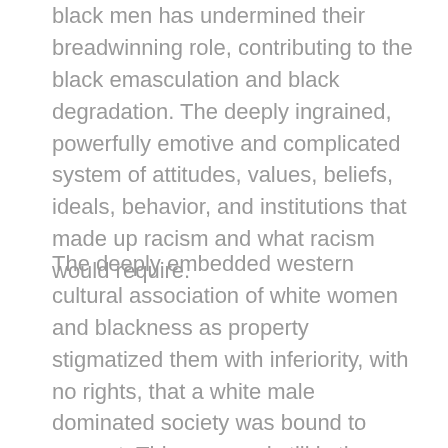black men has undermined their breadwinning role, contributing to the black emasculation and black degradation. The deeply ingrained, powerfully emotive and complicated system of attitudes, values, beliefs, ideals, behavior, and institutions that made up racism and what racism would require.
The deeply embedded western cultural association of white women and blackness as property stigmatized them with inferiority, with no rights, that a white male dominated society was bound to respect. This was, and still is the resonance, the reality of slavery. Many of the arguments to justify the enslavement and persecution of black